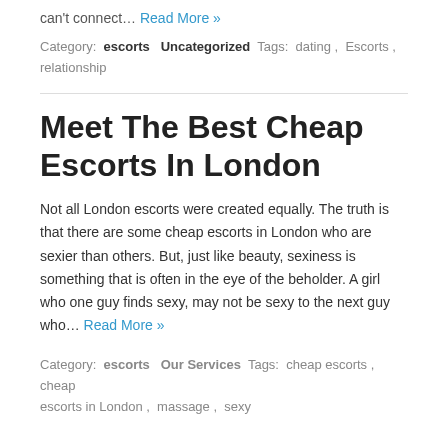can't connect… Read More »
Category: escorts  Uncategorized  Tags: dating , Escorts , relationship
Meet The Best Cheap Escorts In London
Not all London escorts were created equally. The truth is that there are some cheap escorts in London who are sexier than others. But, just like beauty, sexiness is something that is often in the eye of the beholder. A girl who one guy finds sexy, may not be sexy to the next guy who… Read More »
Category: escorts  Our Services  Tags: cheap escorts , cheap escorts in London , massage , sexy